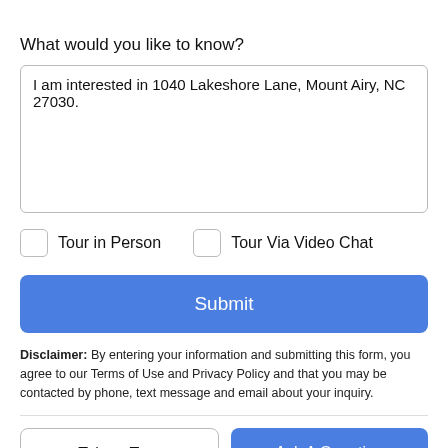What would you like to know?
I am interested in 1040 Lakeshore Lane, Mount Airy, NC 27030.
Tour in Person
Tour Via Video Chat
Submit
Disclaimer: By entering your information and submitting this form, you agree to our Terms of Use and Privacy Policy and that you may be contacted by phone, text message and email about your inquiry.
Take a Tour
Ask A Question